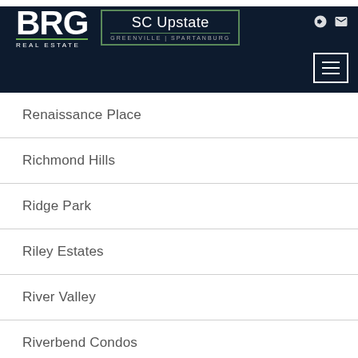BRG Real Estate — SC Upstate Greenville | Spartanburg
Renaissance Place
Richmond Hills
Ridge Park
Riley Estates
River Valley
Riverbend Condos
Riverdale Acres
Riverwoods